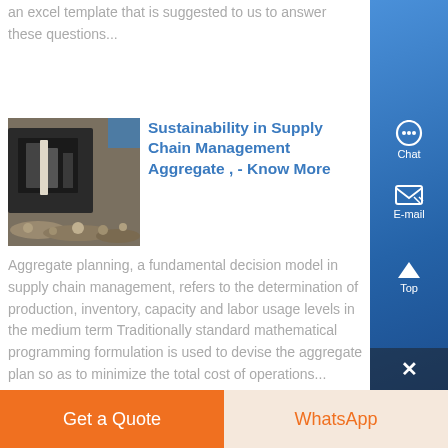an excel template that is suggested to us to answer these questions...
[Figure (photo): Industrial machinery/equipment photograph, showing mechanical parts on a gravel/aggregate surface]
Sustainability in Supply Chain Management Aggregate , - Know More
Aggregate planning, a fundamental decision model in supply chain management, refers to the determination of production, inventory, capacity and labor usage levels in the medium term Traditionally standard mathematical programming formulation is used to devise the aggregate plan so as to minimize the total cost of operations...